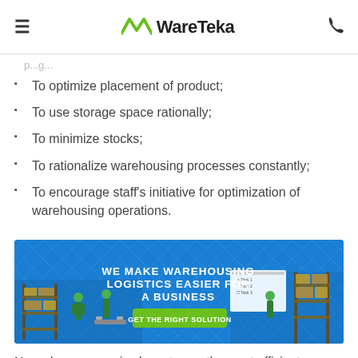WareTeka
To optimize placement of product;
To use storage space rationally;
To minimize stocks;
To rationalize warehousing processes constantly;
To encourage staff's initiative for optimization of warehousing operations.
[Figure (infographic): Banner advertisement for WareTeka: 'WE MAKE WAREHOUSING LOGISTICS EASIER FOR A BUSINESS' with green 'GET THE RIGHT SOLUTION' button, blue background with warehouse workers and shelving illustrations]
Nowadays companies have to use the most efficient methods to gain a competitive advantage. In warehouse logistics, aspects such as speed and quality are essential. The principles of lean logistics help to optimize warehouse operations and to make services more attractive to clients.